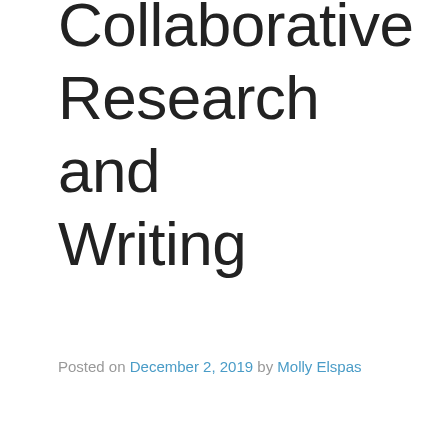Collaborative Research and Writing
Posted on December 2, 2019 by Molly Elspas